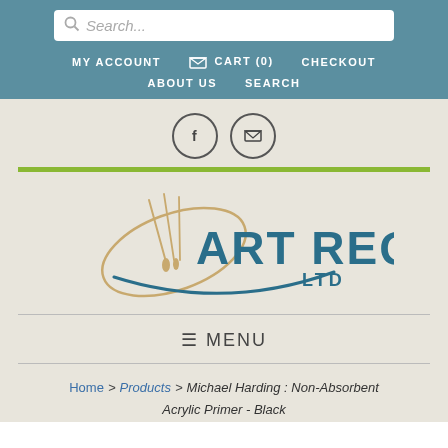Search... MY ACCOUNT  CART (0)  CHECKOUT  ABOUT US  SEARCH
[Figure (logo): ART REQ LTD logo with paintbrushes and circular swish design in teal and tan on beige background]
≡ MENU
Home > Products > Michael Harding : Non-Absorbent Acrylic Primer - Black